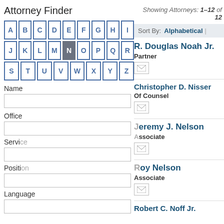Attorney Finder
Showing Attorneys: 1–12 of 12
A B C D E F G H I J K L M N O P Q R S T U V W X Y Z (N selected)
Sort By: Alphabetical
Name
Office
Service
Position
Language
R. Douglas Noah Jr.
Partner
Christopher D. Nissen
Of Counsel
Jeremy J. Nelson
Associate
Roy Nelson
Associate
Robert C. Noff Jr.
[Figure (screenshot): AAAtraq accessibility tracking overlay popup showing logo 'AAAtraq' with TM mark, ID CE5F96/wilsonelser.c... Sep 03 2022, play/info/close buttons, and accessibility figure icon]